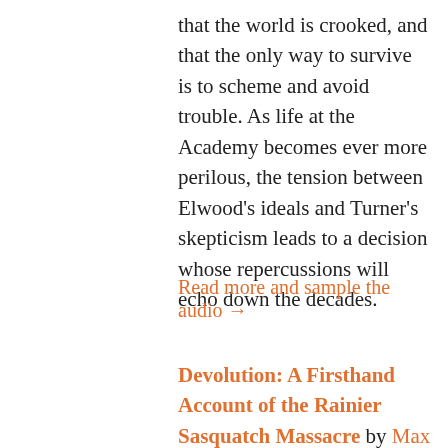that the world is crooked, and that the only way to survive is to scheme and avoid trouble. As life at the Academy becomes ever more perilous, the tension between Elwood's ideals and Turner's skepticism leads to a decision whose repercussions will echo down the decades.
Read more and sample the audio →
Devolution: A Firsthand Account of the Rainier Sasquatch Massacre by Max Brooks, narrated by Terry Gross, Kate Mulgrew, Steven Weber, Max Brooks, Judy Greer, Jeff Daniels, Kimberly